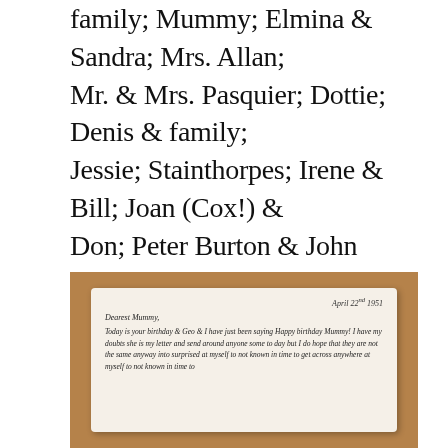family; Mummy; Elmina & Sandra; Mrs. Allan; Mr. & Mrs. Pasquier; Dottie; Denis & family; Jessie; Stainthorpes; Irene & Bill; Joan (Cox!) & Don; Peter Burton & John Barton; & a perfectly darling one from my big husband. I also got Easter cards from Nan & Mrs. Allan & also one from Tom & Doris & family, & I don't think I told you that I got a package from Irene with a rubber lined tartan bag which folds up small & clips or opens out big – she says it is rubber lined for nappies!
[Figure (photo): Photograph of a handwritten letter on aged paper placed on a wooden surface. The letter is dated April 22nd 1951, addressed 'Dearest Mummy', with handwritten text in ink.]